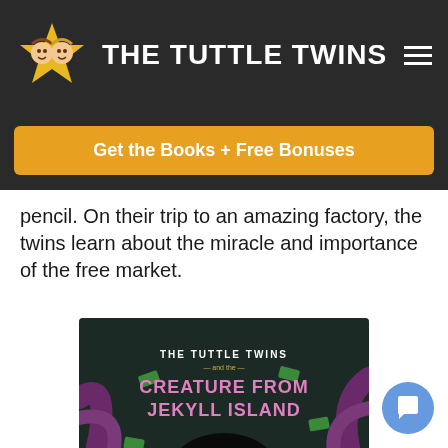THE TUTTLE TWINS
Get the Books + Free Bonuses
pencil. On their trip to an amazing factory, the twins learn about the miracle and importance of the free market.
[Figure (illustration): Book cover of 'The Tuttle Twins and the Creature from Jekyll Island' showing a dark creature with glowing eyes and cash bills flying around on a dark background with green hexagon pattern.]